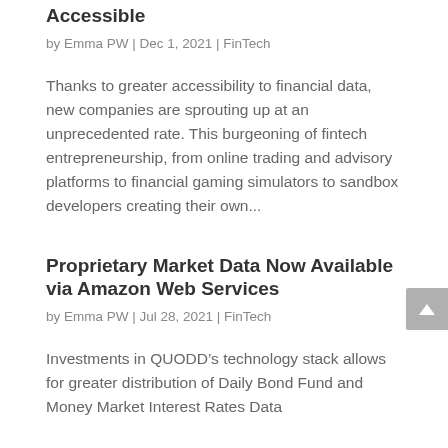Accessible
by Emma PW | Dec 1, 2021 | FinTech
Thanks to greater accessibility to financial data, new companies are sprouting up at an unprecedented rate. This burgeoning of fintech entrepreneurship, from online trading and advisory platforms to financial gaming simulators to sandbox developers creating their own...
Proprietary Market Data Now Available via Amazon Web Services
by Emma PW | Jul 28, 2021 | FinTech
Investments in QUODD’s technology stack allows for greater distribution of Daily Bond Fund and Money Market Interest Rates Data